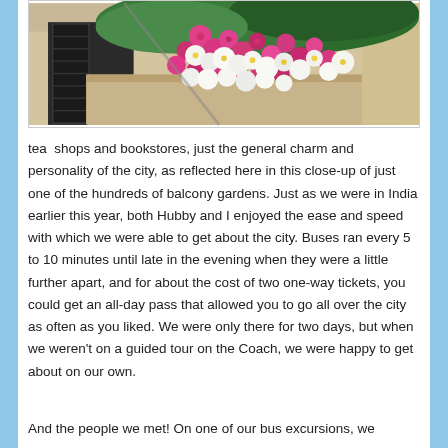[Figure (photo): Close-up photograph of a balcony garden with abundant pink and white flowers (petunias) cascading over a stone balustrade, with architectural stonework visible and what appears to be shuttered windows in the background.]
tea  shops and bookstores, just the general charm and personality of the city, as reflected here in this close-up of just one of the hundreds of balcony gardens. Just as we were in India earlier this year, both Hubby and I enjoyed the ease and speed with which we were able to get about the city. Buses ran every 5 to 10 minutes until late in the evening when they were a little further apart, and for about the cost of two one-way tickets, you could get an all-day pass that allowed you to go all over the city as often as you liked. We were only there for two days, but when we weren't on a guided tour on the Coach, we were happy to get about on our own.
And the people we met! On one of our bus excursions, we